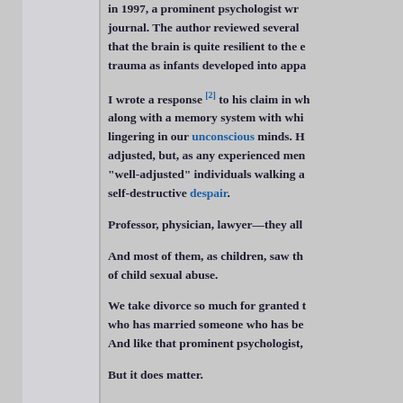in 1997, a prominent psychologist wrote in a journal. The author reviewed several that the brain is quite resilient to the effects of trauma as infants developed into appa
I wrote a response [2] to his claim in wh along with a memory system with whi lingering in our unconscious minds. H adjusted, but, as any experienced men “well-adjusted” individuals walking a self-destructive despair.
Professor, physician, lawyer—they all
And most of them, as children, saw the of child sexual abuse.
We take divorce so much for granted t who has married someone who has be And like that prominent psychologist,
But it does matter.